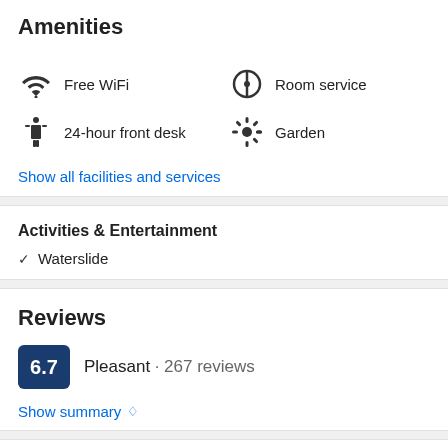Amenities
Free WiFi
Room service
24-hour front desk
Garden
Show all facilities and services
Activities & Entertainment
Waterslide
Reviews
6.7 Pleasant · 267 reviews
Show summary
Travel Sustainable property